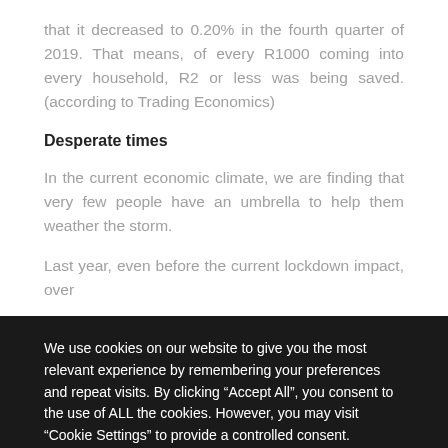that it decreased to 0.20% in the fourth quarter of 2019. That means, of every R1000 coming into every household, R2 or less was being saved. (according to Trading Economics)
Desperate times
In the current economic climate, we are finding that very few people have an umbrella to help them weather the storm.
Last year, even before the current lockdown impact, over
We use cookies on our website to give you the most relevant experience by remembering your preferences and repeat visits. By clicking “Accept All”, you consent to the use of ALL the cookies. However, you may visit "Cookie Settings" to provide a controlled consent.